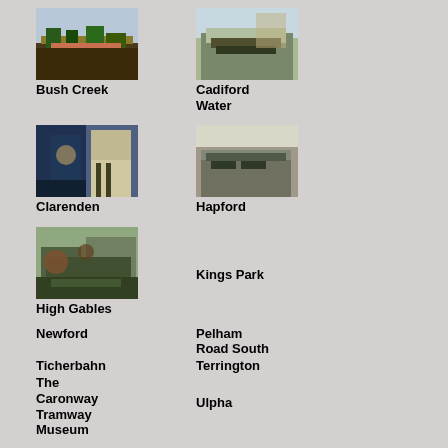[Figure (photo): Model railway layout - Bush Creek]
Bush Creek
[Figure (photo): Model railway layout - Cadiford Water]
Cadiford Water
[Figure (photo): Model railway layout - Clarenden]
Clarenden
[Figure (photo): Model railway layout - Hapford]
Hapford
[Figure (photo): Model railway layout - High Gables]
High Gables
Kings Park
Newford
Pelham Road South
Ticherbahn
Terrington
The Caronway Tramway Museum
Ulpha
TOP